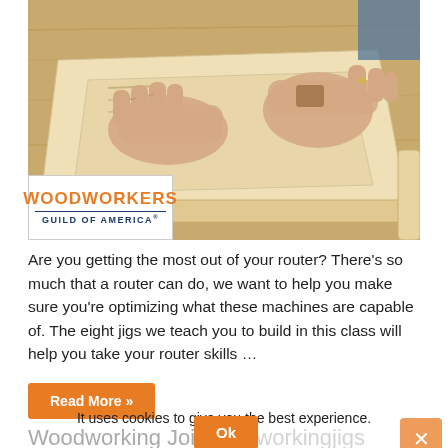[Figure (photo): Hands of a person working on a woodworking jig/routing project on a light-colored wooden workbench. A woodworking piece with routed lines is visible under the hands.]
Are you getting the most out of your router? There's so much that a router can do, we want to help you make sure you're optimizing what these machines are capable of. The eight jigs we teach you to build in this class will help you take your router skills …
Read More »
It uses cookies to give you the best experience.
Woodworking Joint # odworkingjigs
1 Temmuz 2022   woodworking jigs   0